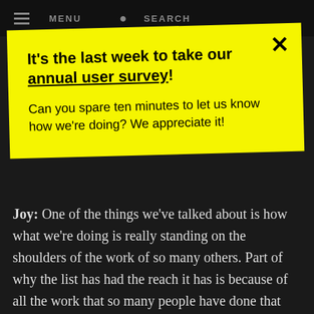MENU  SEARCH
It's the last week to take our annual user survey! Can you spare ten minutes to let us know how we're doing? We appreciate it!
Joy: One of the things we've talked about is how what we're doing is really standing on the shoulders of the work of so many others. Part of why the list has had the reach it has is because of all the work that so many people have done that came before. Elissa Goetschius standing up at the Summit and reeling off that list of stats that was pulled together by those artists in DC. Ilana Brownstein storifying it so it got